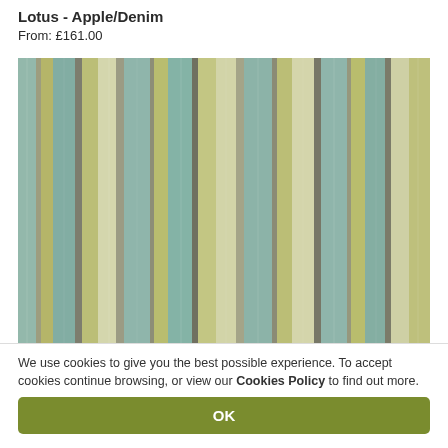Lotus - Apple/Denim
From: £161.00
[Figure (photo): Striped fabric swatch in muted green, teal/denim blue, grey and cream vertical stripes of varying widths — the 'Lotus - Apple/Denim' textile pattern.]
We use cookies to give you the best possible experience. To accept cookies continue browsing, or view our Cookies Policy to find out more.
OK